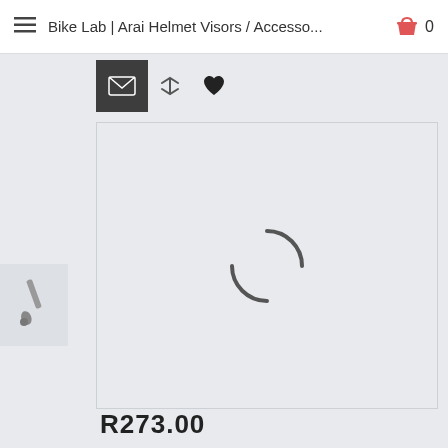Bike Lab | Arai Helmet Visors / Accesso...
[Figure (screenshot): E-commerce product page screenshot showing navigation bar with hamburger menu, page title 'Bike Lab | Arai Helmet Visors / Accesso...', shopping cart icon with 0 items, action icons (email/dark square, compare, heart/wishlist), a large product image area with a loading spinner, a paintbrush tool icon on the left panel, and a price 'R273.00' at the bottom.]